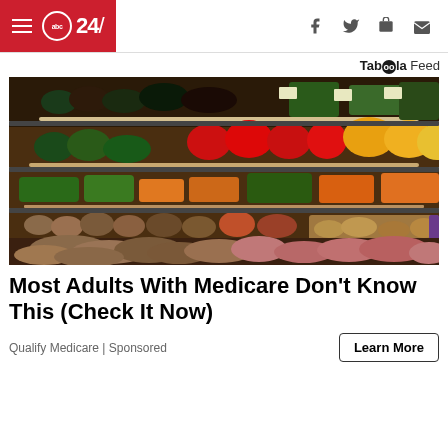abc24/ (ABC24 news site header with hamburger menu and social icons)
Taboola Feed
[Figure (photo): A grocery store produce aisle showing colorful shelves of vegetables and fruits including potatoes, peppers, carrots, green beans, and other produce arranged on multiple tiered shelves.]
Most Adults With Medicare Don't Know This (Check It Now)
Qualify Medicare | Sponsored
Learn More